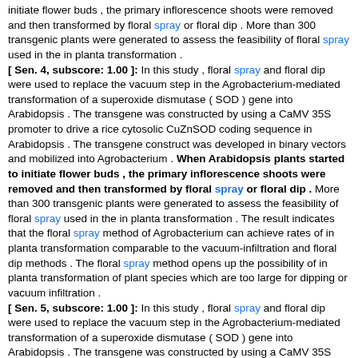initiate flower buds , the primary inflorescence shoots were removed and then transformed by floral spray or floral dip . More than 300 transgenic plants were generated to assess the feasibility of floral spray used in the in planta transformation . [ Sen. 4, subscore: 1.00 ]: In this study , floral spray and floral dip were used to replace the vacuum step in the Agrobacterium-mediated transformation of a superoxide dismutase ( SOD ) gene into Arabidopsis . The transgene was constructed by using a CaMV 35S promoter to drive a rice cytosolic CuZnSOD coding sequence in Arabidopsis . The transgene construct was developed in binary vectors and mobilized into Agrobacterium . When Arabidopsis plants started to initiate flower buds , the primary inflorescence shoots were removed and then transformed by floral spray or floral dip . More than 300 transgenic plants were generated to assess the feasibility of floral spray used in the in planta transformation . The result indicates that the floral spray method of Agrobacterium can achieve rates of in planta transformation comparable to the vacuum-infiltration and floral dip methods . The floral spray method opens up the possibility of in planta transformation of plant species which are too large for dipping or vacuum infiltration . [ Sen. 5, subscore: 1.00 ]: In this study , floral spray and floral dip were used to replace the vacuum step in the Agrobacterium-mediated transformation of a superoxide dismutase ( SOD ) gene into Arabidopsis . The transgene was constructed by using a CaMV 35S promoter to drive a rice cytosolic CuZnSOD coding sequence in Arabidopsis . The transgene construct was developed in binary vectors and mobilized into Agrobacterium . When Arabidopsis plants started to initiate flower buds , the primary inflorescence shoots were removed and then transformed by floral spray or floral dip . More than 300 transgenic plants were generated to assess the feasibility of floral spray used in the in planta transformation . The result indicates that the floral spray method